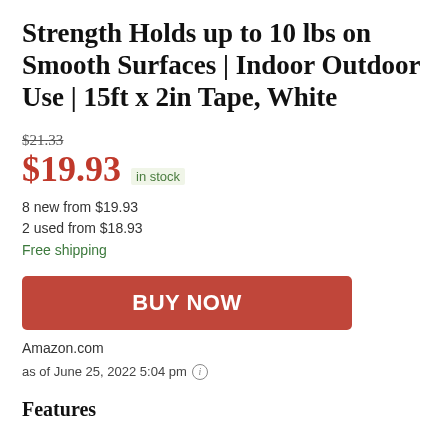Strength Holds up to 10 lbs on Smooth Surfaces | Indoor Outdoor Use | 15ft x 2in Tape, White
$21.33
$19.93 in stock
8 new from $19.93
2 used from $18.93
Free shipping
BUY NOW
Amazon.com
as of June 25, 2022 5:04 pm
Features